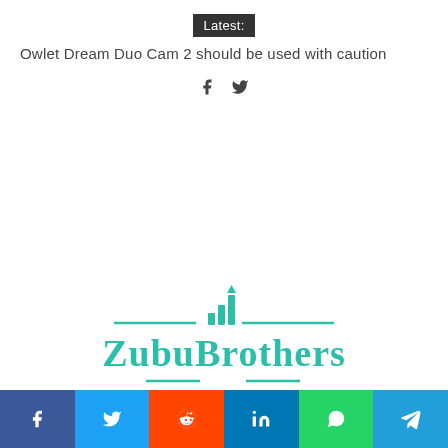Latest: Owlet Dream Duo Cam 2 should be used with caution
[Figure (logo): ZubuBrothers logo with teal bar chart icon and decorative lines]
[Figure (infographic): Social media sharing buttons: Facebook, Twitter, Reddit, LinkedIn, WhatsApp, Telegram]